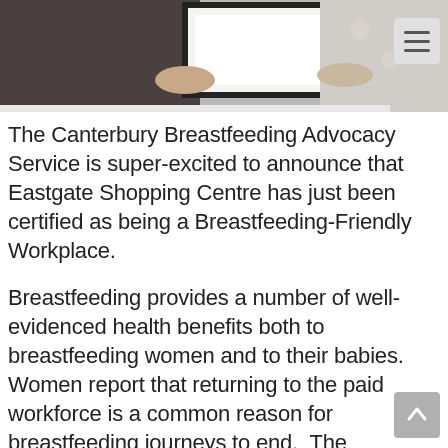[Figure (photo): Two people holding a framed certificate or plaque, partially cropped at top of page. A hamburger menu icon appears in the upper right corner.]
The Canterbury Breastfeeding Advocacy Service is super-excited to announce that Eastgate Shopping Centre has just been certified as being a Breastfeeding-Friendly Workplace.
Breastfeeding provides a number of well-evidenced health benefits both to breastfeeding women and to their babies.  Women report that returning to the paid workforce is a common reason for breastfeeding journeys to end.  The Breastfeeding-Friendly Workplace Initiative is a project managed by the